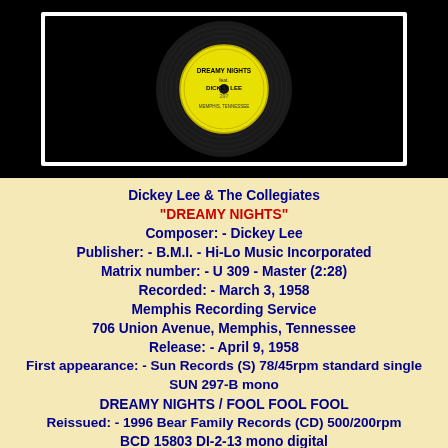[Figure (photo): Photograph of a vinyl record with a yellow label reading 'DREAMY NIGHTS', 'Dickey Lee', '297', 'MEMPHIS, TENNESSEE', set against a black background with a white border around the record.]
Dickey Lee & The Collegiates
"DREAMY NIGHTS"
Composer: - Dickey Lee
Publisher: - B.M.I. - Hi-Lo Music Incorporated
Matrix number: - U 309 - Master (2:28)
Recorded: - March 3, 1958
Memphis Recording Service
706 Union Avenue, Memphis, Tennessee
Release: - April 9, 1958
First appearance: - Sun Records (S) 78/45rpm standard single SUN 297-B mono
DREAMY NIGHTS / FOOL FOOL FOOL
Reissued: - 1996 Bear Family Records (CD) 500/200rpm
BCD 15803 DI-2-13 mono digital